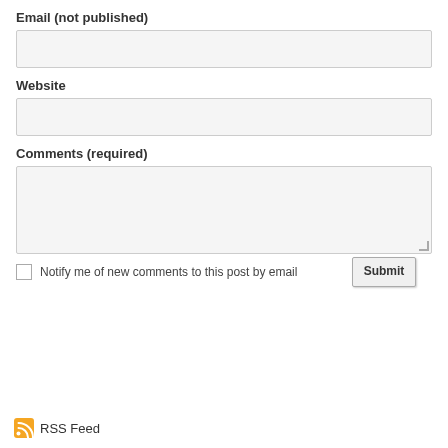Email (not published)
Website
Comments (required)
Notify me of new comments to this post by email
Submit
RSS Feed